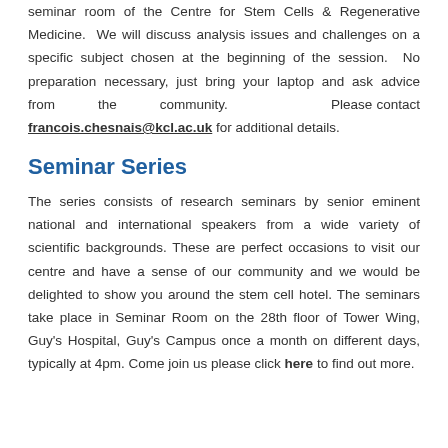seminar room of the Centre for Stem Cells & Regenerative Medicine.  We will discuss analysis issues and challenges on a specific subject chosen at the beginning of the session.  No preparation necessary, just bring your laptop and ask advice from the community.  Please contact francois.chesnais@kcl.ac.uk for additional details.
Seminar Series
The series consists of research seminars by senior eminent national and international speakers from a wide variety of scientific backgrounds. These are perfect occasions to visit our centre and have a sense of our community and we would be delighted to show you around the stem cell hotel. The seminars take place in Seminar Room on the 28th floor of Tower Wing, Guy's Hospital, Guy's Campus once a month on different days, typically at 4pm. Come join us please click here to find out more.